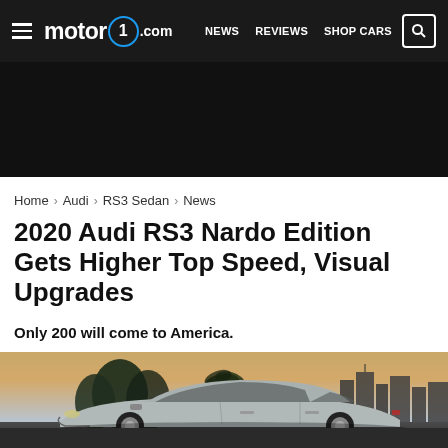motor1.com — NEWS REVIEWS SHOP CARS
Home > Audi > RS3 Sedan > News
2020 Audi RS3 Nardo Edition Gets Higher Top Speed, Visual Upgrades
Only 200 will come to America.
[Figure (photo): 2020 Audi RS3 Nardo Edition sedan photographed at dusk with city skyline and palm trees in background]